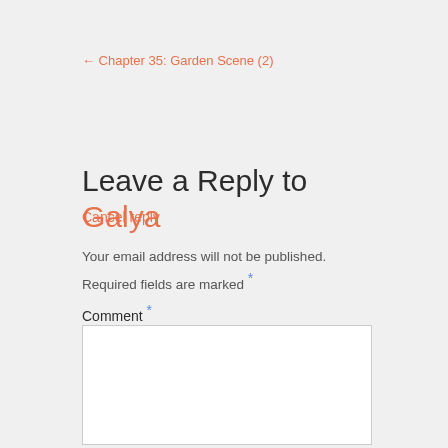← Chapter 35: Garden Scene (2)
Leave a Reply to Galya
Cancel reply
Your email address will not be published.
Required fields are marked *
Comment *